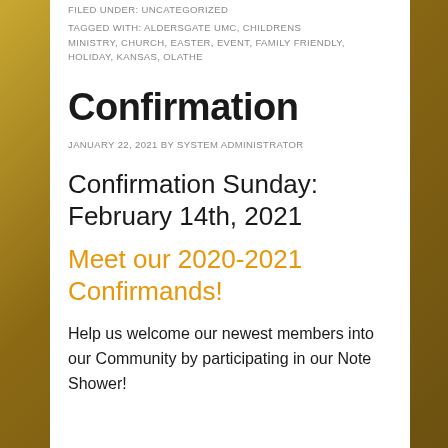FILED UNDER: UNCATEGORIZED
TAGGED WITH: ALDERSGATE UMC, CHILDRENS MINISTRY, CHURCH, EASTER, EVENT, FAMILY FRIENDLY, HOLIDAY, KANSAS, OLATHE
Confirmation
JANUARY 22, 2021 BY SYSTEM ADMINISTRATOR
Confirmation Sunday: February 14th, 2021
Meet our 2020-2021 Confirmands!
Help us welcome our newest members into our Community by participating in our Note Shower!